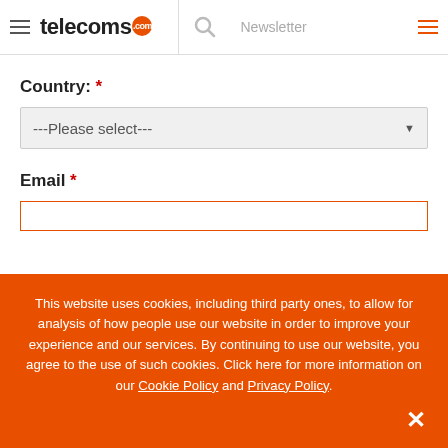telecoms.com — Newsletter
Country: *
---Please select---
Email *
This website uses cookies, including third party ones, to allow for analysis of how people use our website in order to improve your experience and our services. By continuing to use our website, you agree to the use of such cookies. Click here for more information on our Cookie Policy and Privacy Policy.